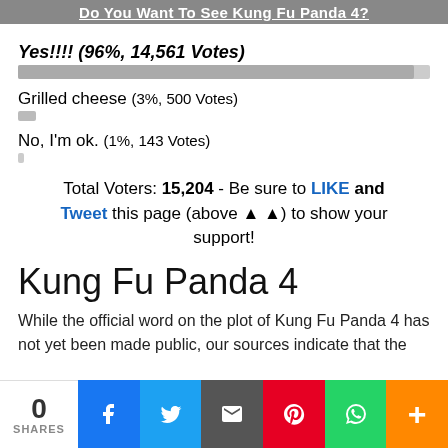Do You Want To See Kung Fu Panda 4?
Yes!!!! (96%, 14,561 Votes)
Grilled cheese (3%, 500 Votes)
No, I'm ok. (1%, 143 Votes)
Total Voters: 15,204 - Be sure to LIKE and Tweet this page (above ▲ ▲) to show your support!
Kung Fu Panda 4
While the official word on the plot of Kung Fu Panda 4 has not yet been made public, our sources indicate that the
0 SHARES | Facebook | Twitter | Email | Pinterest | WhatsApp | More